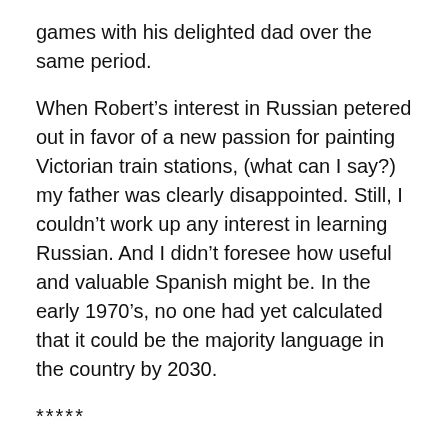games with his delighted dad over the same period.
When Robert’s interest in Russian petered out in favor of a new passion for painting Victorian train stations, (what can I say?) my father was clearly disappointed. Still, I couldn’t work up any interest in learning Russian. And I didn’t foresee how useful and valuable Spanish might be. In the early 1970’s, no one had yet calculated that it could be the majority language in the country by 2030.
*****
As an adult, I’ve had more opportunities to learn Spanish than I ever imagined. First, the kids played soccer under a series of Latin American trainers. Then we bought property in Costa Rica and began to visit there regularly. In addition, my children studied Spanish in school. They tell